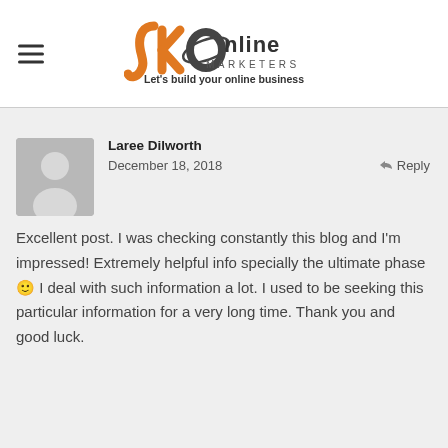[Figure (logo): JK Online Marketers logo with tagline 'Let's build your online business']
Laree Dilworth
December 18, 2018
Reply
Excellent post. I was checking constantly this blog and I'm impressed! Extremely helpful info specially the ultimate phase 🙂 I deal with such information a lot. I used to be seeking this particular information for a very long time. Thank you and good luck.